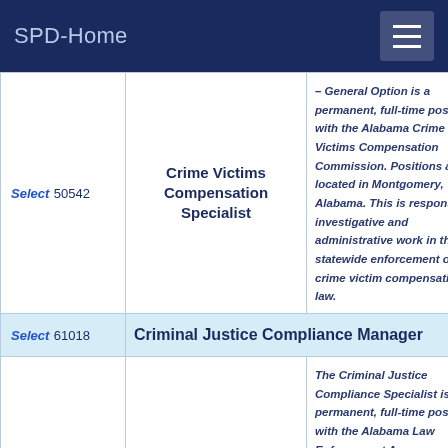SPD-Home
| Select | Job Title | Description |
| --- | --- | --- |
| Select 50542 | Crime Victims Compensation Specialist | – General Option is a permanent, full-time position with the Alabama Crime Victims Compensation Commission. Positions are located in Montgomery, Alabama. This is responsible investigative and administrative work in the statewide enforcement of the crime victim compensation law. |
| Select 61018 | Criminal Justice Compliance Manager |  |
|  |  | The Criminal Justice Compliance Specialist is a permanent, full-time position with the Alabama Law Enforcement Agency |